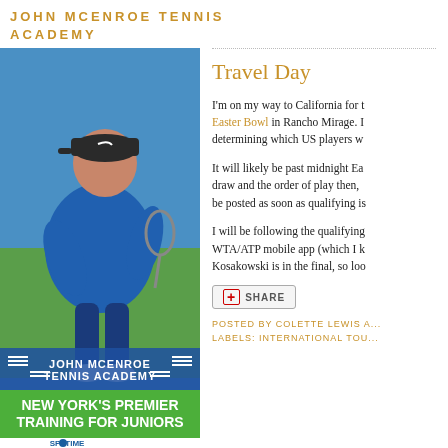JOHN MCENROE TENNIS ACADEMY
[Figure (photo): Young male tennis player in blue shirt and Nike cap in playing stance, with John McEnroe Tennis Academy advertisement overlay at the bottom reading NEW YORK'S PREMIER TRAINING FOR JUNIORS, with SPORTIME and John McEnroe logos]
Travel Day
I'm on my way to California for the Easter Bowl in Rancho Mirage. I determining which US players w...
It will likely be past midnight Ea... draw and the order of play then, be posted as soon as qualifying is...
I will be following the qualifying WTA/ATP mobile app (which I k... Kosakowski is in the final, so loo...
SHARE
POSTED BY COLETTE LEWIS A...
LABELS: INTERNATIONAL TOU...